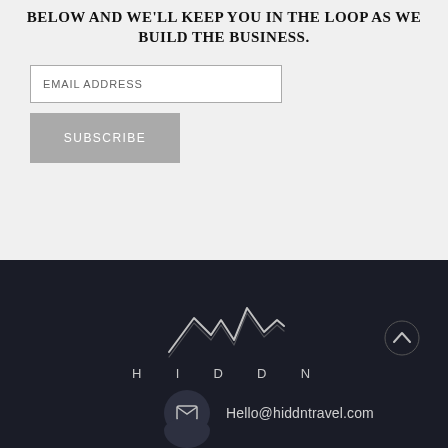BELOW AND WE'LL KEEP YOU IN THE LOOP AS WE BUILD THE BUSINESS.
[Figure (other): Email address input field placeholder]
[Figure (other): Subscribe button]
[Figure (logo): HIDDN travel logo with mountain/lightning bolt line art and text H I D D N]
Hello@hiddntravel.com